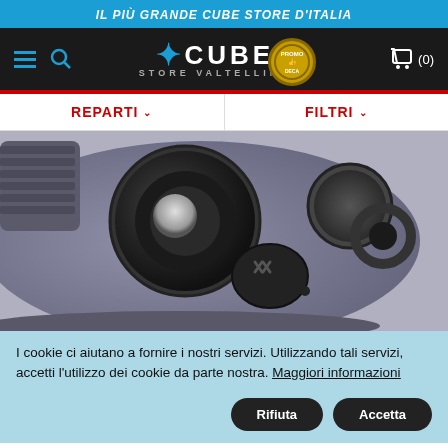IL PIÙ GRANDE CUBE STORE D'ITALIA
[Figure (logo): Cube Store Valtellina logo with navigation icons and cart]
REPARTI   FILTRI
[Figure (photo): Close-up photo of a bicycle rear derailleur component, grey metallic color]
I cookie ci aiutano a fornire i nostri servizi. Utilizzando tali servizi, accetti l'utilizzo dei cookie da parte nostra. Maggiori informazioni
Rifiuta  Accetta